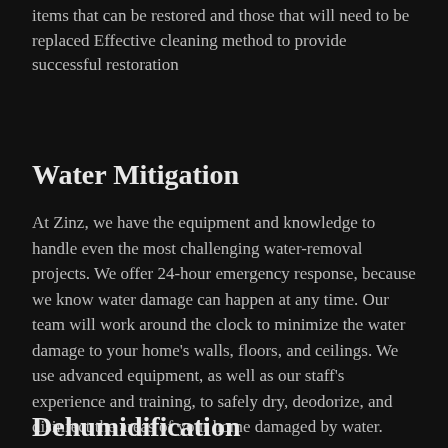items that can be restored and those that will need to be replaced Effective cleaning method to provide successful restoration
Water Mitigation
At Zinz, we have the equipment and knowledge to handle even the most challenging water-removal projects. We offer 24-hour emergency response, because we know water damage can happen at any time. Our team will work around the clock to minimize the water damage to your home's walls, floors, and ceilings. We use advanced equipment, as well as our staff's experience and training, to safely dry, deodorize, and disinfect the areas of your home damaged by water.
Dehumidification